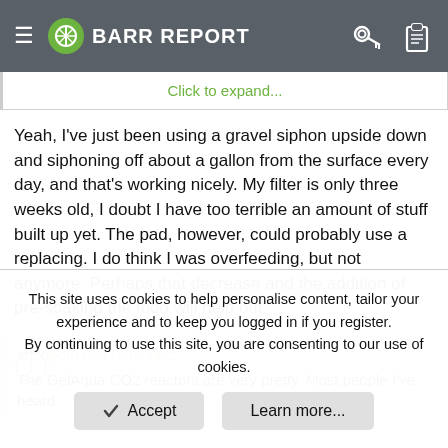BARR REPORT
Click to expand...
Yeah, I've just been using a gravel siphon upside down and siphoning off about a gallon from the surface every day, and that's working nicely. My filter is only three weeks old, I doubt I have too terrible an amount of stuff built up yet. The pad, however, could probably use a replacing. I do think I was overfeeding, but not anymore. Perhaps that decrease and the addition of pre-soaking the food will help out.
shoggoth43;41936 said:
The GelAqua CO2 reactors are very pretty. Most people I've heard...
This site uses cookies to help personalise content, tailor your experience and to keep you logged in if you register.
By continuing to use this site, you are consenting to our use of cookies.